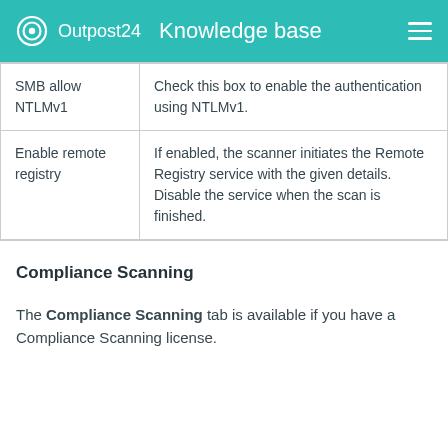Outpost24  Knowledge base
|  |  |
| --- | --- |
| SMB allow NTLMv1 | Check this box to enable the authentication using NTLMv1. |
| Enable remote registry | If enabled, the scanner initiates the Remote Registry service with the given details. Disable the service when the scan is finished. |
Compliance Scanning
The Compliance Scanning tab is available if you have a Compliance Scanning license.